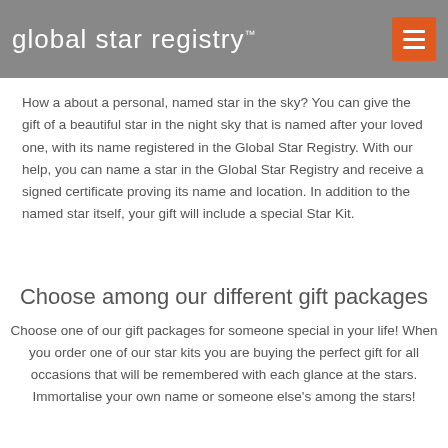global star registry™
How a about a personal, named star in the sky? You can give the gift of a beautiful star in the night sky that is named after your loved one, with its name registered in the Global Star Registry. With our help, you can name a star in the Global Star Registry and receive a signed certificate proving its name and location. In addition to the named star itself, your gift will include a special Star Kit.
Choose among our different gift packages
Choose one of our gift packages for someone special in your life! When you order one of our star kits you are buying the perfect gift for all occasions that will be remembered with each glance at the stars. Immortalise your own name or someone else's among the stars!